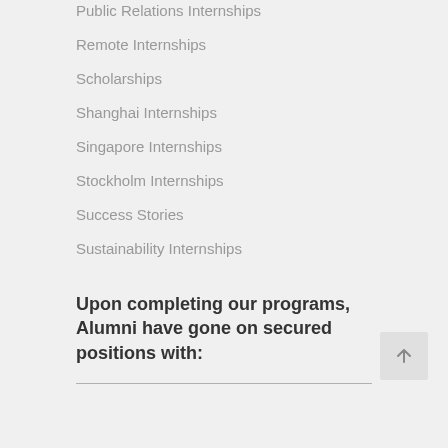Public Relations Internships
Remote Internships
Scholarships
Shanghai Internships
Singapore Internships
Stockholm Internships
Success Stories
Sustainability Internships
Upon completing our programs, Alumni have gone on secured positions with: